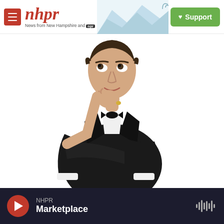[Figure (logo): NHPR website header with hamburger menu icon, nhpr logo in red italic, mountain/radio tower illustration, and green Support button]
[Figure (photo): Man in black tuxedo with bow tie, arms crossed, hand on chin in a thinking pose, looking upward to the right, against white background]
[Figure (infographic): Bottom audio player bar showing NHPR / Marketplace with red play button and audio waveform icon on dark background]